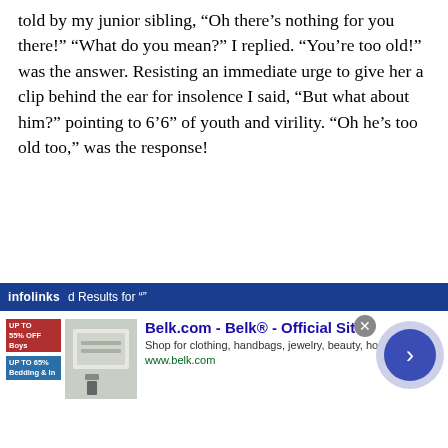told by my junior sibling, “Oh there’s nothing for you there!”  “What do you mean?” I replied.  “You’re too old!” was the answer.  Resisting an immediate urge to give her a clip behind the ear for insolence I said, “But what about him?” pointing to 6’6” of youth and virility.  “Oh he’s too old too,” was the response!
What a sad indictment of today’s world!  At 29 years of age, this young fellow was considered to be too old to go out and enjoy himself?  Of course, for me at age 60+, it was practically sinful to even contemplate it!
[Figure (screenshot): Infolinks ad bar with Belk.com advertisement showing clothing/bedding products, site URL www.belk.com, close button, and navigation arrow circle]